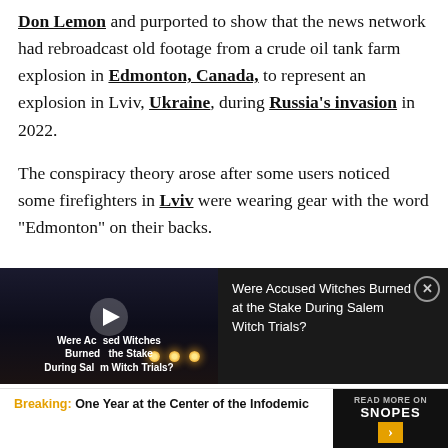Don Lemon and purported to show that the news network had rebroadcast old footage from a crude oil tank farm explosion in Edmonton, Canada, to represent an explosion in Lviv, Ukraine, during Russia's invasion in 2022.
The conspiracy theory arose after some users noticed some firefighters in Lviv were wearing gear with the word “Edmonton” on their backs.
[Figure (screenshot): Video player thumbnail with dark background showing candle/torch lights, text overlay reading 'Were Accused Witches Burned at the Stake During Salem Witch Trials?' with a play button icon. Beside it, white text on dark background reads the same title with a close (X) button.]